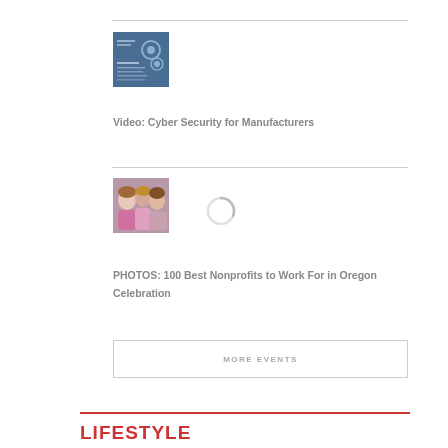[Figure (photo): Thumbnail image of Cyber Security for Manufacturers video cover with gear icons on blue background]
Video: Cyber Security for Manufacturers
[Figure (photo): Thumbnail photo of people at a celebration event, colorful group shot]
PHOTOS: 100 Best Nonprofits to Work For in Oregon Celebration
MORE EVENTS
LIFESTYLE